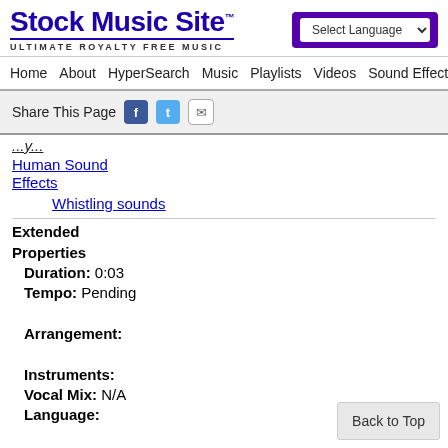Stock Music Site™ — ULTIMATE ROYALTY FREE MUSIC | Select Language
Home | About | HyperSearch | Music | Playlists | Videos | Sound Effects | Arti...
Share This Page
Human Sound Effects
Whistling sounds
Extended Properties
Duration: 0:03
Tempo: Pending
Arrangement:
Instruments:
Vocal Mix: N/A
Language: